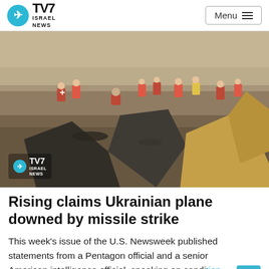TV7 ISRAEL NEWS — Menu
[Figure (photo): Crash site scene with rescue workers in red uniforms examining debris from a downed Ukrainian aircraft. Large burnt metal debris in foreground, multiple workers in red jackets with white cross emblems in background. TV7 Israel News watermark visible in lower left corner.]
Rising claims Ukrainian plane downed by missile strike
This week's issue of the U.S. Newsweek published statements from a Pentagon official and a senior American intelligence official, speaking on condition of